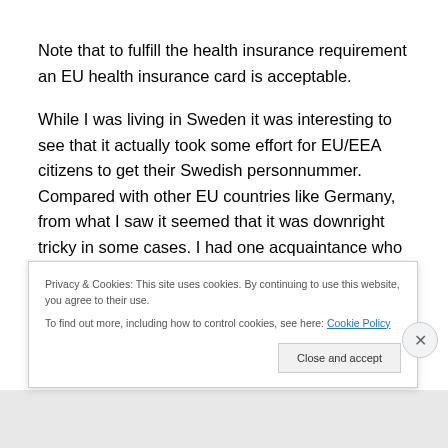Note that to fulfill the health insurance requirement an EU health insurance card is acceptable.
While I was living in Sweden it was interesting to see that it actually took some effort for EU/EEA citizens to get their Swedish personnummer. Compared with other EU countries like Germany, from what I saw it seemed that it was downright tricky in some cases. I had one acquaintance who had UK citizenship and after a year of trying to get a personnummer and getting hung up on the
Privacy & Cookies: This site uses cookies. By continuing to use this website, you agree to their use.
To find out more, including how to control cookies, see here: Cookie Policy
Close and accept